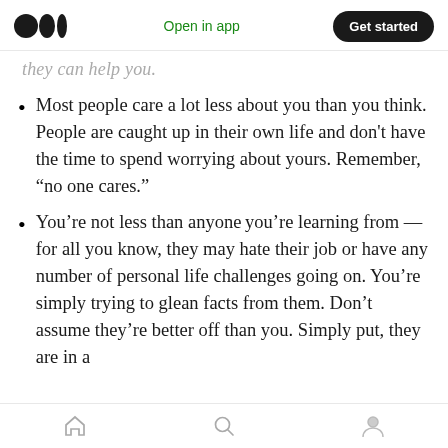Medium app header with logo, Open in app link, and Get started button
they can help you.
Most people care a lot less about you than you think. People are caught up in their own life and don't have the time to spend worrying about yours. Remember, “no one cares.”
You’re not less than anyone you’re learning from — for all you know, they may hate their job or have any number of personal life challenges going on. You’re simply trying to glean facts from them. Don’t assume they’re better off than you. Simply put, they are in a
Bottom navigation bar with home, search, and profile icons